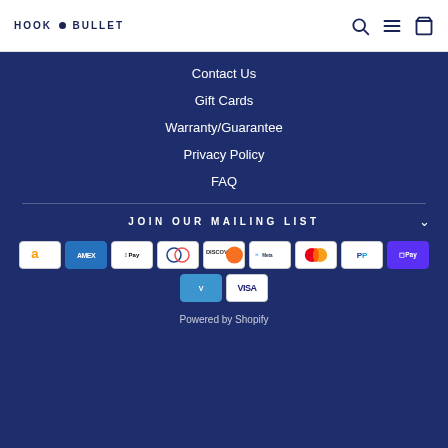HOOK & BULLET
Contact Us
Gift Cards
Warranty/Guarantee
Privacy Policy
FAQ
JOIN OUR MAILING LIST
[Figure (other): Payment method icons: Amazon, American Express, Apple Pay, Diners Club, Discover, Meta Pay, Mastercard, PayPal, Shop Pay, Venmo, Visa]
Powered by Shopify